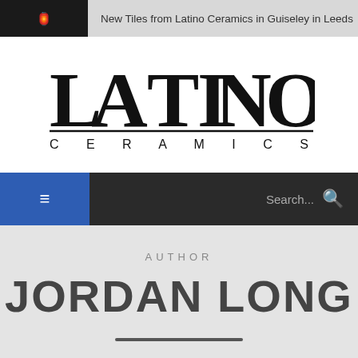New Tiles from Latino Ceramics in Guiseley in Leeds
[Figure (logo): Latino Ceramics logo with large bold LATINO text and CERAMICS in spaced letters below, with a horizontal rule]
≡  Search...
AUTHOR
JORDAN LONG